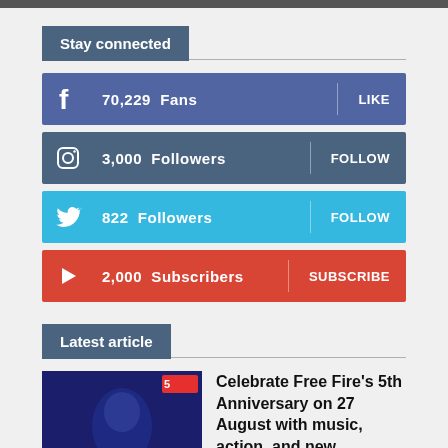Stay connected
70,229  Fans  LIKE
3,000  Followers  FOLLOW
822  Followers  FOLLOW
2,000  Subscribers  SUBSCRIBE
Latest article
Celebrate Free Fire's 5th Anniversary on 27 August with music, action, and new experiences